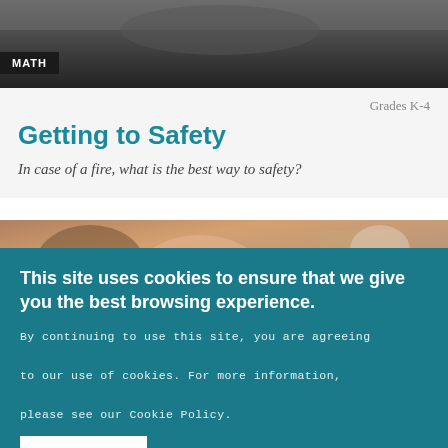[Figure (photo): Dark background photo at top of page (classroom/fire related)]
MATH
Grades K-4
Getting to Safety
In case of a fire, what is the best way to safety?
[Figure (photo): Photo of children, possibly doing an activity]
This site uses cookies to ensure that we give you the best browsing experience.
By continuing to use this site, you are agreeing to our use of cookies. For more information, please see our Cookie Policy.
OK